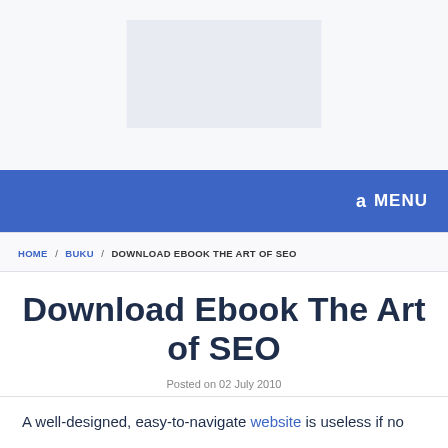[Figure (screenshot): Advertisement placeholder area at top of page with light gray background and inner gray box]
a MENU
HOME / BUKU / DOWNLOAD EBOOK THE ART OF SEO
Download Ebook The Art of SEO
Posted on 02 July 2010
A well-designed, easy-to-navigate website is useless if no